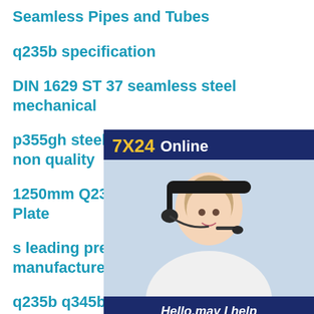Seamless Pipes and Tubes
q235b specification
DIN 1629 ST 37 seamless steel mechanical
p355gh steel plate for boilers p non quality
1250mm Q235 Carbon Steel Ch Plate
s leading pre galvanized steel pipe manufacturer
q235b q345b l steel profile hot rolled angle iron
hot sale ss400 hot rolled plate from
[Figure (photo): Customer service representative wearing a headset, smiling, with text '7X24 Online', 'Hello, may I help you?', and a 'Get Latest Price' button on a dark blue background.]